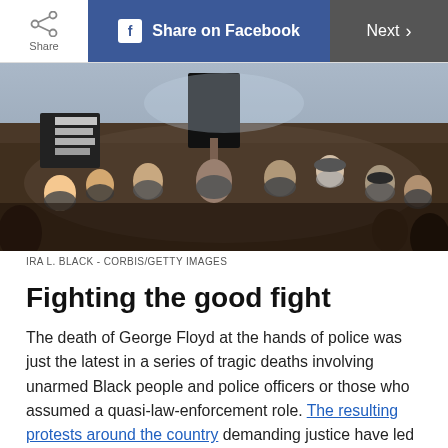Share | Share on Facebook | Next >
[Figure (photo): Large crowd of protesters wearing face masks, holding signs, at a Black Lives Matter protest.]
IRA L. BLACK - CORBIS/GETTY IMAGES
Fighting the good fight
The death of George Floyd at the hands of police was just the latest in a series of tragic deaths involving unarmed Black people and police officers or those who assumed a quasi-law-enforcement role. The resulting protests around the country demanding justice have led to some significant changes in law enforcement and public attitudes. Those are small steps in the right